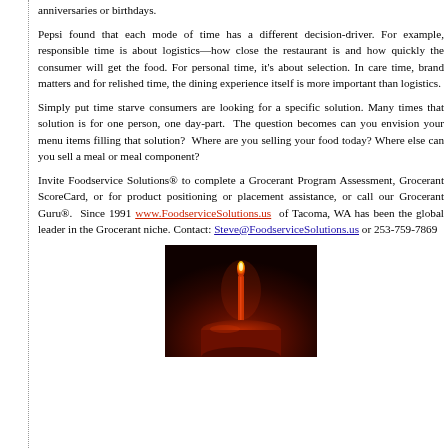anniversaries or birthdays.
Pepsi found that each mode of time has a different decision-driver. For example, responsible time is about logistics—how close the restaurant is and how quickly the consumer will get the food. For personal time, it's about selection. In care time, brand matters and for relished time, the dining experience itself is more important than logistics.
Simply put time starve consumers are looking for a specific solution. Many times that solution is for one person, one day-part. The question becomes can you envision your menu items filling that solution? Where are you selling your food today? Where else can you sell a meal or meal component?
Invite Foodservice Solutions® to complete a Grocerant Program Assessment, Grocerant ScoreCard, or for product positioning or placement assistance, or call our Grocerant Guru®. Since 1991 www.FoodserviceSolutions.us of Tacoma, WA has been the global leader in the Grocerant niche. Contact: Steve@FoodserviceSolutions.us or 253-759-7869
[Figure (photo): A dark reddish-brown background photo with what appears to be a lit candle on a cake, likely related to anniversaries or birthdays theme.]